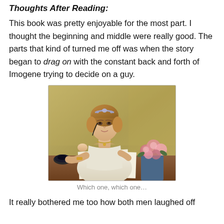Thoughts After Reading:
This book was pretty enjoyable for the most part. I thought the beginning and middle were really good. The parts that kind of turned me off was when the story began to drag on with the constant back and forth of Imogene trying to decide on a guy.
[Figure (illustration): Painting of a young woman in a white Regency-era dress with a tiara, sitting at a desk with papers and flowers (roses), resting her chin on her hand thoughtfully, with an inkwell visible on the left.]
Which one, which one…
It really bothered me too how both men laughed off